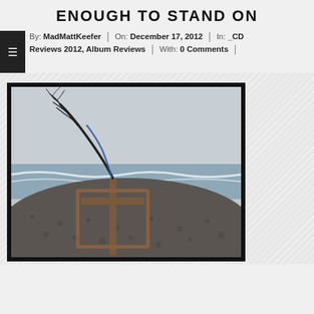ENOUGH TO STAND ON
By: MadMattKeefer | On: December 17, 2012 | In: _CD Reviews 2012, Album Reviews | With: 0 Comments
[Figure (photo): Album cover photo showing a bare tree branch bent over a cross-shaped wooden frame structure on a rocky beach, with ocean waves in the background. The image is framed with a thick black border.]